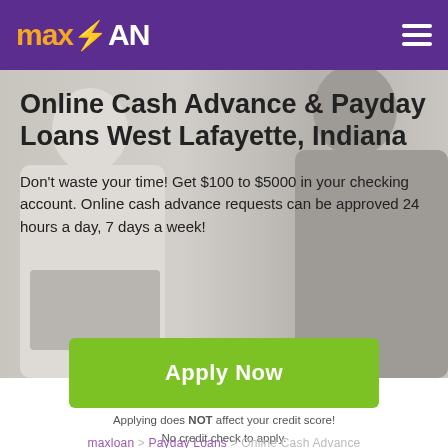maxLOAN
Online Cash Advance & Payday Loans West Lafayette, Indiana
Don't waste your time! Get $100 to $5000 in your checking account. Online cash advance requests can be approved 24 hours a day, 7 days a week!
Apply Now
Applying does NOT affect your credit score!
No credit check to apply.
maxloan > Payday Loans > Online Cash Advance